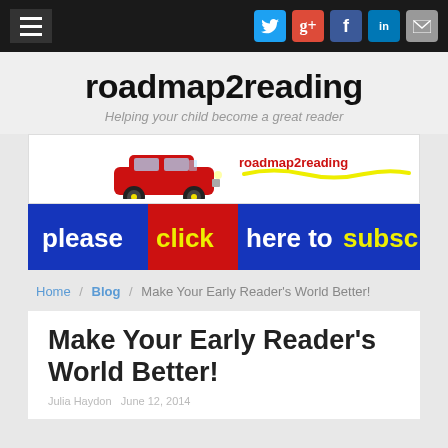roadmap2reading — navigation bar with hamburger menu and social icons (Twitter, Google+, Facebook, LinkedIn, Email)
roadmap2reading
Helping your child become a great reader
[Figure (logo): roadmap2reading logo: red station wagon car with yellow road/squiggle line and text 'roadmap2reading']
[Figure (infographic): Blue/red subscribe banner: 'please click here to subscribe' with yellow and white text]
Home / Blog / Make Your Early Reader's World Better!
Make Your Early Reader's World Better!